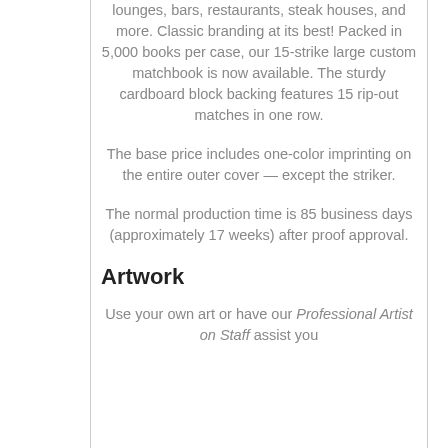lounges, bars, restaurants, steak houses, and more. Classic branding at its best! Packed in 5,000 books per case, our 15-strike large custom matchbook is now available. The sturdy cardboard block backing features 15 rip-out matches in one row.
The base price includes one-color imprinting on the entire outer cover — except the striker.
The normal production time is 85 business days (approximately 17 weeks) after proof approval.
Artwork
Use your own art or have our Professional Artist on Staff assist you